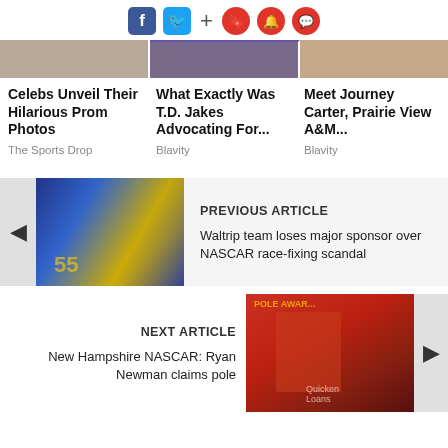[Figure (infographic): Social media icons bar: Facebook (blue square), Twitter (blue bird square), plus sign, and three red circle icons (bookmark, bell, speech bubble)]
[Figure (photo): Three thumbnail images in a horizontal strip at the top of the page]
Celebs Unveil Their Hilarious Prom Photos
The Sports Drop
What Exactly Was T.D. Jakes Advocating For...
Blavity
Meet Journey Carter, Prairie View A&M...
Blavity
[Figure (photo): Blue and yellow NASCAR race car number 55 on a track]
PREVIOUS ARTICLE
Waltrip team loses major sponsor over NASCAR race-fixing scandal
[Figure (photo): Ryan Newman in red racing suit at pole award ceremony with team members in background]
NEXT ARTICLE
New Hampshire NASCAR: Ryan Newman claims pole